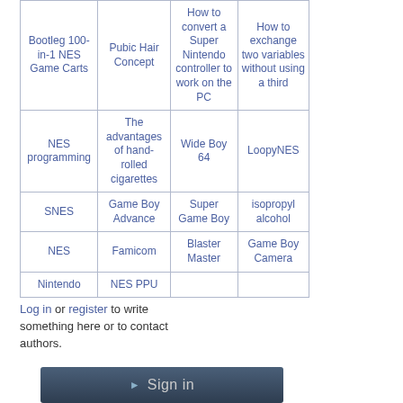| Bootleg 100-in-1 NES Game Carts | Pubic Hair Concept | How to convert a Super Nintendo controller to work on the PC | How to exchange two variables without using a third |
| NES programming | The advantages of hand-rolled cigarettes | Wide Boy 64 | LoopyNES |
| SNES | Game Boy Advance | Super Game Boy | isopropyl alcohol |
| NES | Famicom | Blaster Master | Game Boy Camera |
| Nintendo | NES PPU |  |  |
Log in or register to write something here or to contact authors.